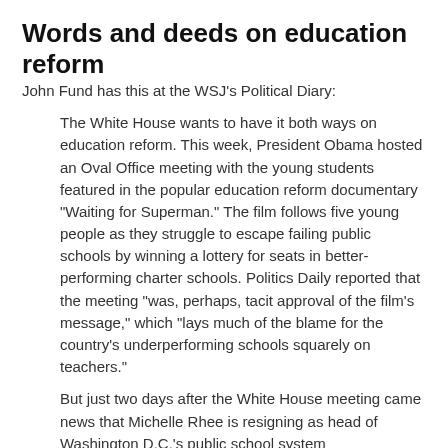Words and deeds on education reform
John Fund has this at the WSJ's Political Diary:
The White House wants to have it both ways on education reform. This week, President Obama hosted an Oval Office meeting with the young students featured in the popular education reform documentary "Waiting for Superman." The film follows five young people as they struggle to escape failing public schools by winning a lottery for seats in better-performing charter schools. Politics Daily reported that the meeting "was, perhaps, tacit approval of the film's message," which "lays much of the blame for the country's underperforming schools squarely on teachers."
But just two days after the White House meeting came news that Michelle Rhee is resigning as head of Washington D.C.'s public school system